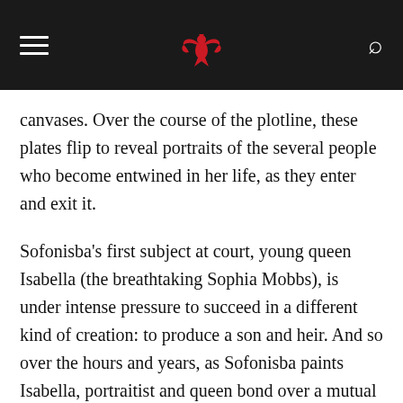[hamburger menu] [red bird logo] [search icon]
canvases. Over the course of the plotline, these plates flip to reveal portraits of the several people who become entwined in her life, as they enter and exit it.
Sofonisba's first subject at court, young queen Isabella (the breathtaking Sophia Mobbs), is under intense pressure to succeed in a different kind of creation: to produce a son and heir. And so over the hours and years, as Sofonisba paints Isabella, portraitist and queen bond over a mutual affection and the hazards of being a woman at court.
Wearing wine-colored satin and things that sparkle, Isabella is a profound contrast to the woman who paints her. In the hands of the superb Mobbs, Isabella